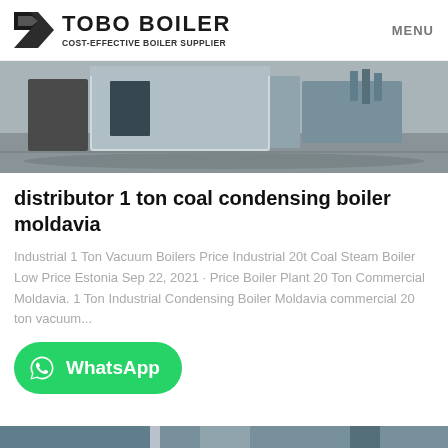TOBO BOILER – COST-EFFECTIVE BOILER SUPPLIER | MENU
[Figure (photo): Industrial boiler equipment photograph showing a large grey/white boiler unit in a warehouse or factory setting]
distributor 1 ton coal condensing boiler moldavia
Industrial 1 Ton Vacuum Boilers Price Industrial 20t Coal Steam Boiler Low Price Estonia Sep 22, 2021 · Price Boiler Plant 20 Ton Commercial Moldavia. 1 Ton Industrial Condensing Boiler Moldavia commercial 20 ton vacuum...
[Figure (logo): WhatsApp contact button – green rounded rectangle with WhatsApp icon and text 'WhatsApp']
[Figure (photo): Partial bottom strip showing another industrial boiler photograph]